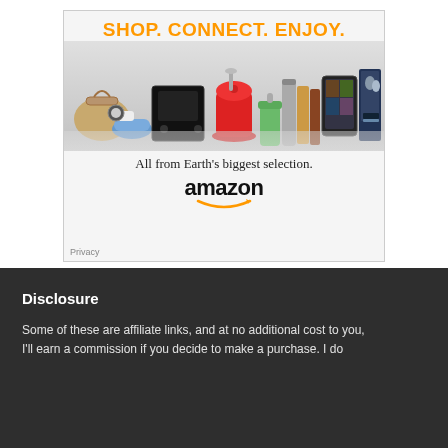[Figure (illustration): Amazon advertisement banner: 'SHOP. CONNECT. ENJOY.' in orange bold text at top, product images (handbag, gaming console, stand mixer, smoothie, thermos, books, Kindle tablet, movie case) in middle, 'All from Earth's biggest selection.' tagline in serif font, Amazon logo with orange arrow smile, Privacy label in bottom-left corner. White background with light gray gradient behind products.]
Disclosure
Some of these are affiliate links, and at no additional cost to you, I'll earn a commission if you decide to make a purchase. I do